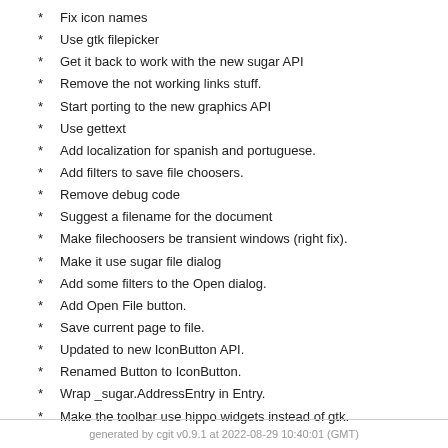Fix icon names
Use gtk filepicker
Get it back to work with the new sugar API
Remove the not working links stuff.
Start porting to the new graphics API
Use gettext
Add localization for spanish and portuguese.
Add filters to save file choosers.
Remove debug code
Suggest a filename for the document
Make filechoosers be transient windows (right fix).
Make it use sugar file dialog
Add some filters to the Open dialog.
Add Open File button.
Save current page to file.
Updated to new IconButton API.
Renamed Button to IconButton.
Wrap _sugar.AddressEntry in Entry.
Make the toolbar use hippo widgets instead of gtk.
generated by cgit v0.9.1 at 2022-08-29 10:40:01 (GMT)